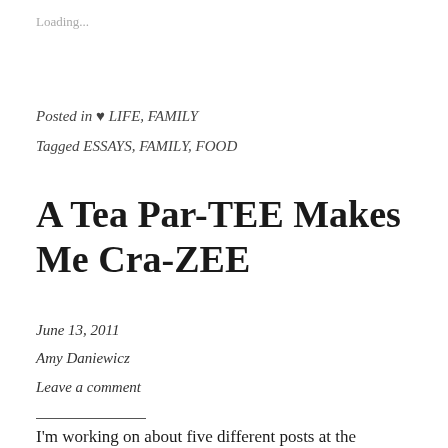Loading...
Posted in ♥ LIFE, FAMILY
Tagged ESSAYS, FAMILY, FOOD
A Tea Par-TEE Makes Me Cra-ZEE
June 13, 2011
Amy Daniewicz
Leave a comment
I'm working on about five different posts at the moment, but I can't seem to get a single one to